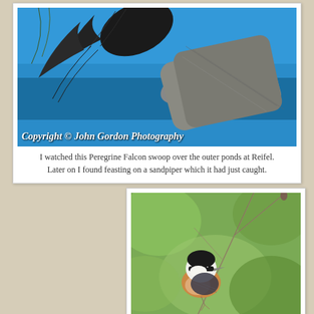[Figure (photo): Peregrine Falcon perched/swooping over tree bark against a bright blue sky. Black and grey bird with dark feathers visible against blue background and textured grey tree trunk.]
I watched this Peregrine Falcon swoop over the outer ponds at Reifel. Later on I found feasting on a sandpiper which it had just caught.
[Figure (photo): Close-up portrait of a small bird (nuthatch) with black and white striped head markings and orange-buff breast, perched on a thin bare branch with green bokeh background.]